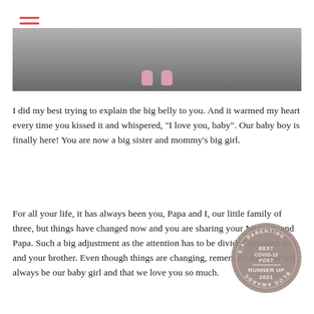[Figure (photo): Partial photo showing baby/toddler shoes on a grey floor, cropped at top of page]
I did my best trying to explain the big belly to you. And it warmed my heart every time you kissed it and whispered, "I love you, baby". Our baby boy is finally here! You are now a big sister and mommy's big girl.
For all your life, it has always been you, Papa and I, our little family of three, but things have changed now and you are sharing your Mommy and Papa. Such a big adjustment as the attention has to be divided between you and your brother. Even though things are changing, remember that you will always be our baby girl and that we love you so much.
[Figure (logo): S.A. Parenting Blog Awards badge - Best Covid-19 Post Runner Up 2021]